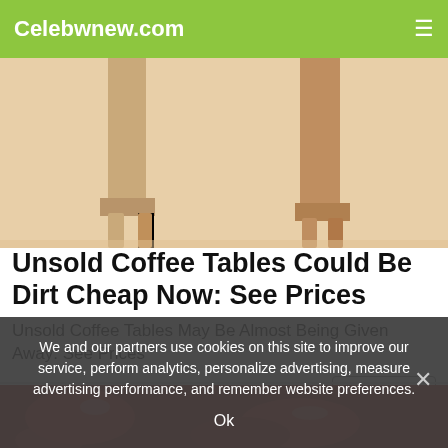Celebwnew.com
[Figure (photo): Photo of wooden coffee table legs/furniture, light wood color, cropped at top]
Unsold Coffee Tables Could Be Dirt Cheap Now: See Prices
Unsold Coffee Tables May Be Almost Being Given Away: See Prices
Unsold Coffee Tables | Sponsored
[Figure (photo): Partial image of red food items, cropped at bottom of page]
We and our partners use cookies on this site to improve our service, perform analytics, personalize advertising, measure advertising performance, and remember website preferences.